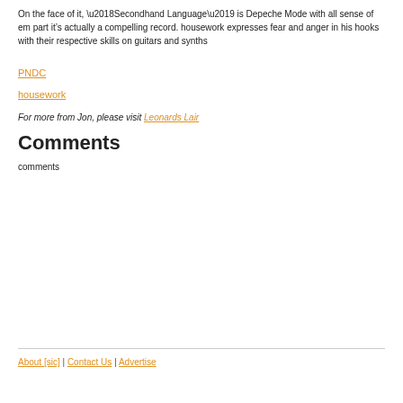On the face of it, ‘Secondhand Language’ is Depeche Mode with all sense of em... part it’s actually a compelling record. housework expresses fear and anger in his... hooks with their respective skills on guitars and synths
PNDC
housework
For more from Jon, please visit Leonards Lair
Comments
comments
About [sic] | Contact Us | Advertise